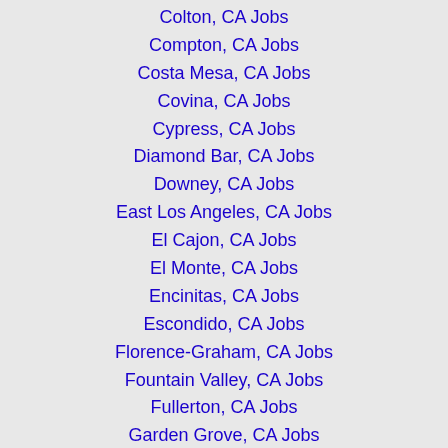Colton, CA Jobs
Compton, CA Jobs
Costa Mesa, CA Jobs
Covina, CA Jobs
Cypress, CA Jobs
Diamond Bar, CA Jobs
Downey, CA Jobs
East Los Angeles, CA Jobs
El Cajon, CA Jobs
El Monte, CA Jobs
Encinitas, CA Jobs
Escondido, CA Jobs
Florence-Graham, CA Jobs
Fountain Valley, CA Jobs
Fullerton, CA Jobs
Garden Grove, CA Jobs
Gardena, CA Jobs
Glendale, CA Jobs